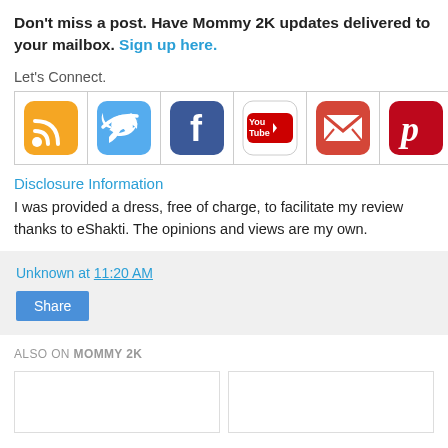Don't miss a post. Have Mommy 2K updates delivered to your mailbox. Sign up here.
Let's Connect.
[Figure (infographic): Row of six social media icon buttons: RSS feed (orange), Twitter (blue), Facebook (blue), YouTube (red/white), Gmail/email (red), Pinterest (red)]
Disclosure Information
I was provided a dress, free of charge, to facilitate my review thanks to eShakti. The opinions and views are my own.
Unknown at 11:20 AM
Share
ALSO ON MOMMY 2K